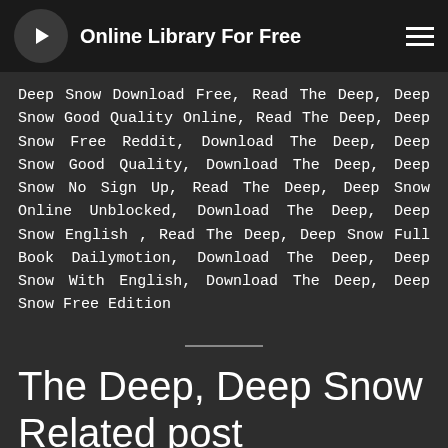Online Library For Free
Deep Snow Download Free, Read The Deep, Deep Snow Good Quality Online, Read The Deep, Deep Snow Free Reddit, Download The Deep, Deep Snow Good Quality, Download The Deep, Deep Snow No Sign Up, Read The Deep, Deep Snow Online Unblocked, Download The Deep, Deep Snow English , Read The Deep, Deep Snow Full Book Dailymotion, Download The Deep, Deep Snow With English, Download The Deep, Deep Snow Free Edition
The Deep, Deep Snow Related post